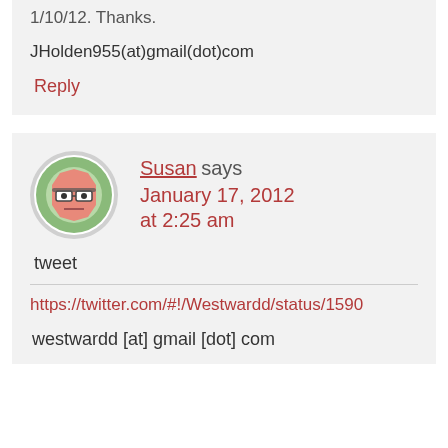1/10/12. Thanks.
JHolden955(at)gmail(dot)com
Reply
[Figure (illustration): Avatar icon of a cartoon face with glasses and a grumpy expression on a green circular background]
Susan says January 17, 2012 at 2:25 am
tweet
https://twitter.com/#!/Westwardd/status/1590...
westwardd [at] gmail [dot] com